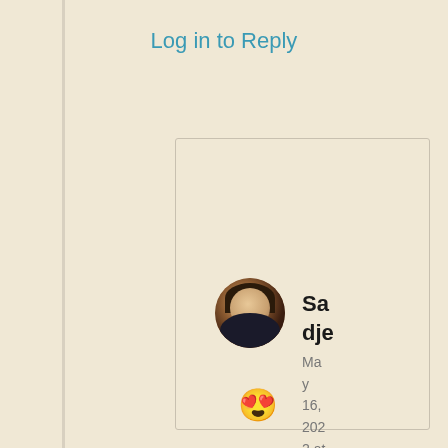Log in to Reply
[Figure (photo): Circular avatar photo of a person with dark hair wearing a black jacket]
Sadje
May 16, 2022 at 10:20 am
😍